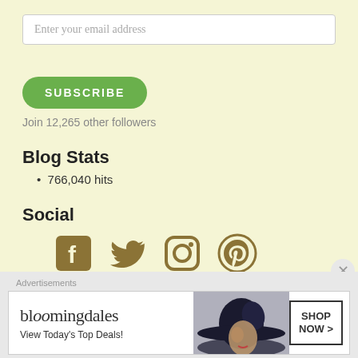Enter your email address
SUBSCRIBE
Join 12,265 other followers
Blog Stats
766,040 hits
Social
[Figure (illustration): Social media icons: Facebook, Twitter, Instagram, Pinterest in dark golden/brown color]
Follow In Dianes Kitchen — 8,596
Category Cloud
Bread Breakfast ... Casserole ...
[Figure (photo): Bloomingdales advertisement banner: 'View Today's Top Deals!' with woman in hat and 'SHOP NOW >' button]
Advertisements